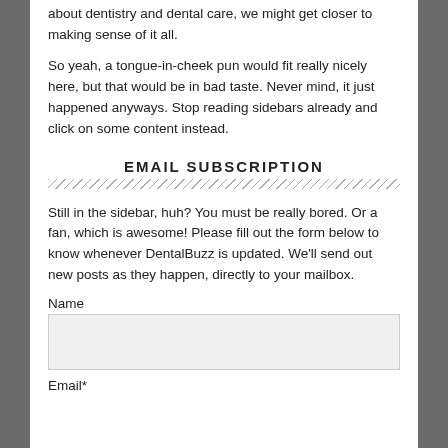about dentistry and dental care, we might get closer to making sense of it all.
So yeah, a tongue-in-cheek pun would fit really nicely here, but that would be in bad taste. Never mind, it just happened anyways. Stop reading sidebars already and click on some content instead.
EMAIL SUBSCRIPTION
Still in the sidebar, huh? You must be really bored. Or a fan, which is awesome! Please fill out the form below to know whenever DentalBuzz is updated. We'll send out new posts as they happen, directly to your mailbox.
Name
Email*